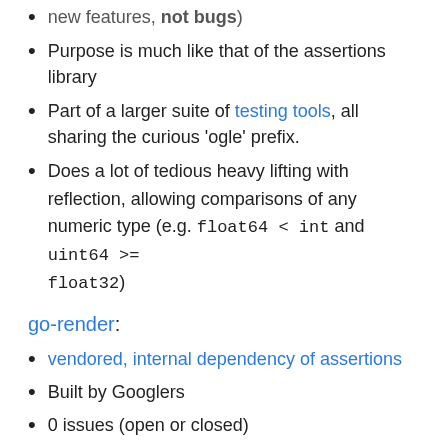new features, not bugs)
Purpose is much like that of the assertions library
Part of a larger suite of testing tools, all sharing the curious 'ogle' prefix.
Does a lot of tedious heavy lifting with reflection, allowing comparisons of any numeric type (e.g. float64 < int and uint64 >= float32)
go-render:
vendored, internal dependency of assertions
Built by Googlers
0 issues (open or closed)
Even more detailed output than
fmt.Sprintf("%#v", x) which also includes